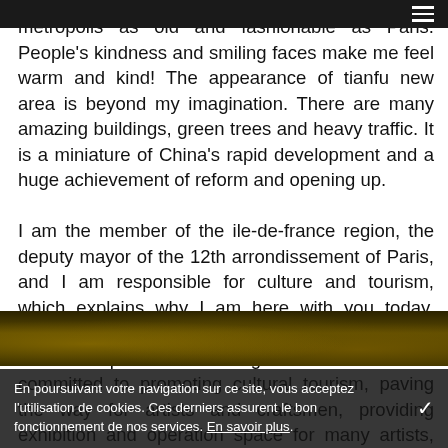metropolis as old and fashionable as Paris. People's kindness and smiling faces make me feel warm and kind! The appearance of tianfu new area is beyond my imagination. There are many amazing buildings, green trees and heavy traffic. It is a miniature of China's rapid development and a huge achievement of reform and opening up.
I am the member of the ile-de-france region, the deputy mayor of the 12th arrondissement of Paris, and I am responsible for culture and tourism, which explains why I am here with you today. Paris 12 district gathered France's top craftsman, art atmosphere is strong. We have been committed to promoting cultural tourism, paving the way for artists and craftsmen, providing exhibition and operation space for many artists, and holding cultural exchange BBS with many countries and regions, promoting international and diversified development.
[Figure (photo): Partial view of a photo strip showing dark foliage/garden scene at the bottom of the page]
En poursuivant votre navigation sur ce site, vous acceptez l'utilisation de cookies. Ces derniers assurent le bon fonctionnement de nos services. En savoir plus.